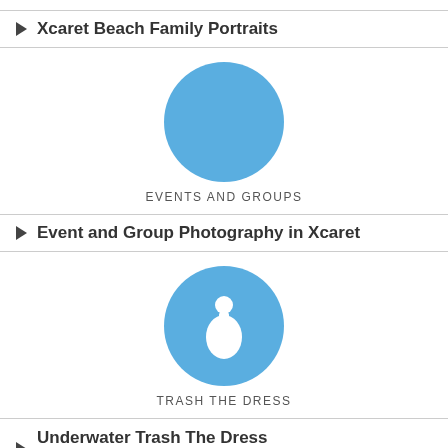Xcaret Beach Family Portraits
[Figure (illustration): Blue circle icon representing Events and Groups category]
EVENTS AND GROUPS
Event and Group Photography in Xcaret
[Figure (illustration): Blue circle icon with white female silhouette representing Trash the Dress category]
TRASH THE DRESS
Underwater Trash The Dress Photography